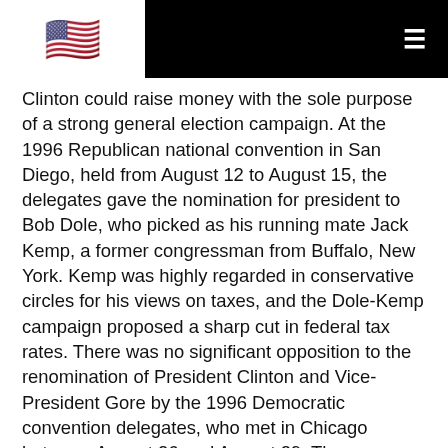[Flag icon] [Hamburger menu]
Clinton could raise money with the sole purpose of a strong general election campaign. At the 1996 Republican national convention in San Diego, held from August 12 to August 15, the delegates gave the nomination for president to Bob Dole, who picked as his running mate Jack Kemp, a former congressman from Buffalo, New York. Kemp was highly regarded in conservative circles for his views on taxes, and the Dole-Kemp campaign proposed a sharp cut in federal tax rates. There was no significant opposition to the renomination of President Clinton and Vice-President Gore by the 1996 Democratic convention delegates, who met in Chicago between August 26 and August 29. The successful convention managed to erase many of the bad memories from the violent 1968 convention in the same city. During the campaign, the Democrats used several tactics against the Republican ticket. One was to associate it with the unpopular Newt Ginrich. Another was to blast the proposed tax cuts at a time when progress was being made to cut the deficits.